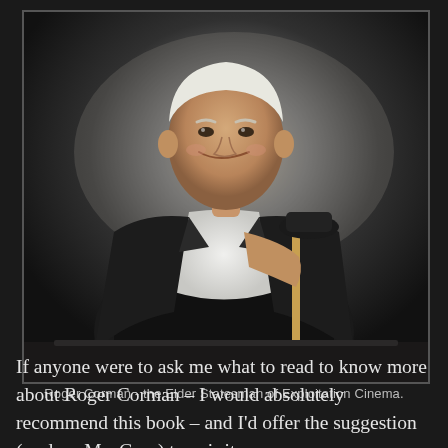[Figure (photo): Portrait photo of Roger Corman, an elderly man in a black suit and white shirt, seated and leaning on a cane, smiling, against a dark studio background.]
Roger Corman - the Elder Statesman of Exploitation Cinema.
If anyone were to ask me what to read to know more about Roger Corman – I would absolutely recommend this book – and I'd offer the suggestion (as does Ms. Gray) to pair it up